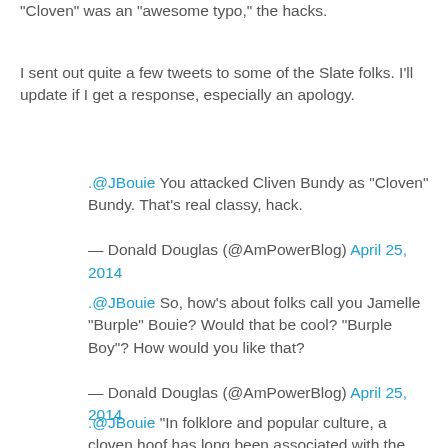"Cloven" was an "awesome typo," the hacks.
I sent out quite a few tweets to some of the Slate folks. I'll update if I get a response, especially an apology.
.@JBouie You attacked Cliven Bundy as "Cloven" Bundy. That's real classy, hack.
— Donald Douglas (@AmPowerBlog) April 25, 2014
.@JBouie So, how's about folks call you Jamelle "Burple" Bouie? Would that be cool? "Burple Boy"? How would you like that?
— Donald Douglas (@AmPowerBlog) April 25, 2014
.@JBouie "In folklore and popular culture, a cloven hoof has long been associated with the